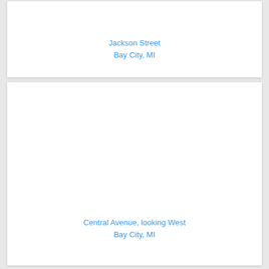Jackson Street
Bay City, MI
[Figure (photo): Blank white image placeholder for Jackson Street, Bay City, MI]
Central Avenue, looking West
Bay City, MI
[Figure (photo): Blank white image placeholder for Central Avenue looking West, Bay City, MI]